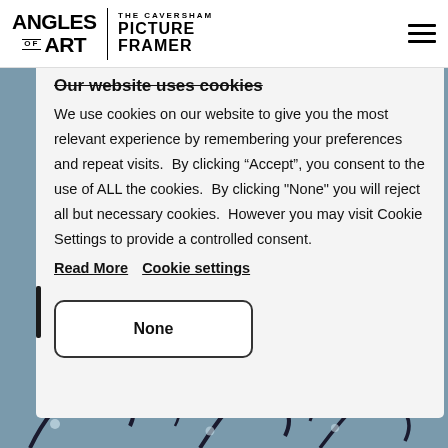ANGLES OF ART | THE CAVERSHAM PICTURE FRAMER
Our website uses cookies
We use cookies on our website to give you the most relevant experience by remembering your preferences and repeat visits.  By clicking “Accept”, you consent to the use of ALL the cookies.  By clicking "None" you will reject all but necessary cookies.  However you may visit Cookie Settings to provide a controlled consent.
Read More   Cookie settings
None